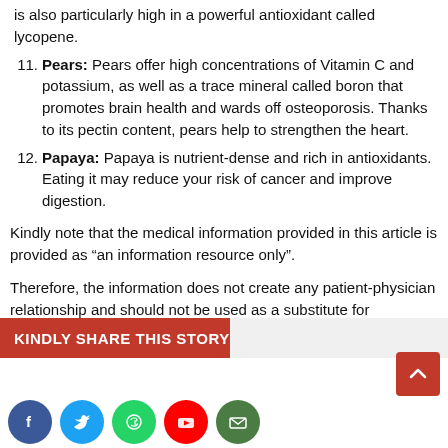is also particularly high in a powerful antioxidant called lycopene.
11. Pears: Pears offer high concentrations of Vitamin C and potassium, as well as a trace mineral called boron that promotes brain health and wards off osteoporosis. Thanks to its pectin content, pears help to strengthen the heart.
12. Papaya: Papaya is nutrient-dense and rich in antioxidants. Eating it may reduce your risk of cancer and improve digestion.
Kindly note that the medical information provided in this article is provided as “an information resource only”.
Therefore, the information does not create any patient-physician relationship and should not be used as a substitute for professional diagnosis and treatment.
KINDLY SHARE THIS STORY
[Figure (infographic): Social media share bar and icons: Facebook, Twitter, WhatsApp, YouTube, Email]